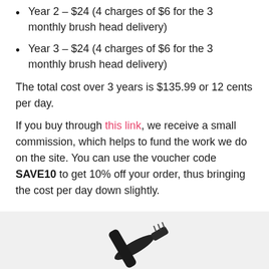Year 2 – $24 (4 charges of $6 for the 3 monthly brush head delivery)
Year 3 – $24 (4 charges of $6 for the 3 monthly brush head delivery)
The total cost over 3 years is $135.99 or 12 cents per day.
If you buy through this link, we receive a small commission, which helps to fund the work we do on the site. You can use the voucher code SAVE10 to get 10% off your order, thus bringing the cost per day down slightly.
[Figure (photo): Photo of a black electric toothbrush or brush head accessory on a light grey background]